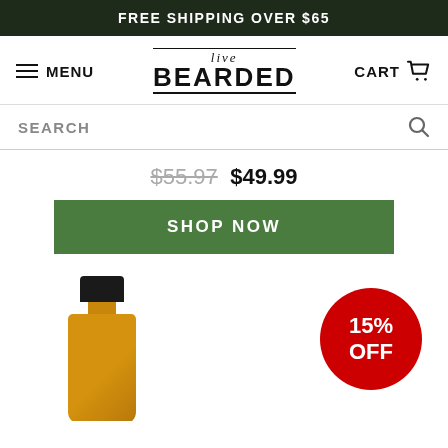FREE SHIPPING OVER $65
live BEARDED
MENU
CART
SEARCH
$55.97  $49.99
SHOP NOW
[Figure (infographic): 15% OFF discount badge (red circle) with a product bottle (beard oil) partially visible at bottom left]
15% OFF